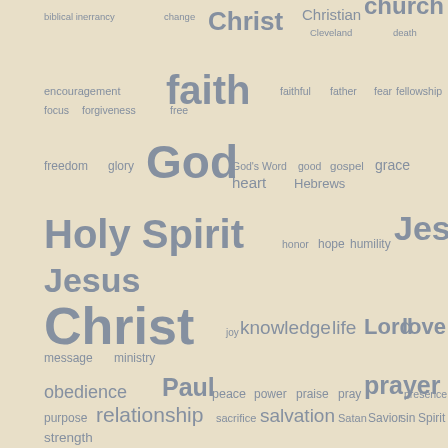[Figure (infographic): Word cloud on a tan/beige background featuring religious and Christian terms in varying font sizes. Larger words include: Christ, church, faith, God, Holy Spirit, Jesus, Jesus Christ, love, prayer, relationship, salvation, video, wisdom. Smaller words include: biblical inerrancy, change, Christian, Cleveland, death, encouragement, faithful, father, fear, fellowship, focus, forgiveness, free, freedom, glory, God's Word, good, gospel, grace, heart, Hebrews, honor, hope, humility, joy, knowledge, life, Lord, message, ministry, obedience, Paul, peace, power, praise, pray, presence, purpose, sacrifice, Satan, Savior, sin, Spirit, strength, study, suffering, teaching, time, Timothy, trust, truth, understanding, word, work, world, worship.]